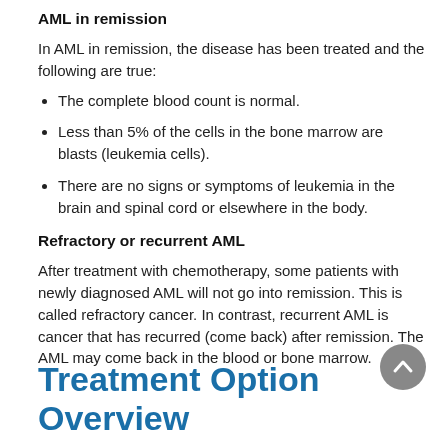AML in remission
In AML in remission, the disease has been treated and the following are true:
The complete blood count is normal.
Less than 5% of the cells in the bone marrow are blasts (leukemia cells).
There are no signs or symptoms of leukemia in the brain and spinal cord or elsewhere in the body.
Refractory or recurrent AML
After treatment with chemotherapy, some patients with newly diagnosed AML will not go into remission. This is called refractory cancer. In contrast, recurrent AML is cancer that has recurred (come back) after remission. The AML may come back in the blood or bone marrow.
Treatment Option Overview